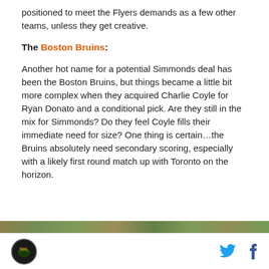positioned to meet the Flyers demands as a few other teams, unless they get creative.
The Boston Bruins:
Another hot name for a potential Simmonds deal has been the Boston Bruins, but things became a little bit more complex when they acquired Charlie Coyle for Ryan Donato and a conditional pick. Are they still in the mix for Simmonds? Do they feel Coyle fills their immediate need for size? One thing is certain…the Bruins absolutely need secondary scoring, especially with a likely first round match up with Toronto on the horizon.